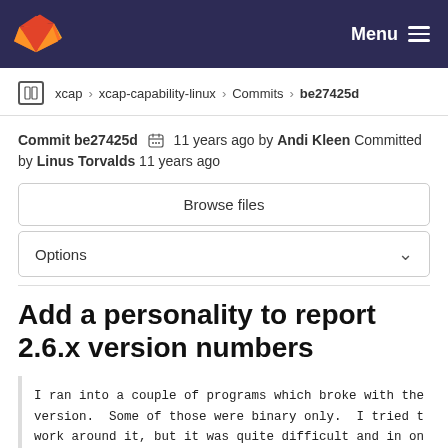GitLab — Menu
xcap › xcap-capability-linux › Commits › be27425d
Commit be27425d 11 years ago by Andi Kleen Committed by Linus Torvalds 11 years ago
Browse files
Options
Add a personality to report 2.6.x version numbers
I ran into a couple of programs which broke with the version.  Some of those were binary only.  I tried t work around it, but it was quite difficult and in on because of a mix of 32bit and 64bit executables.